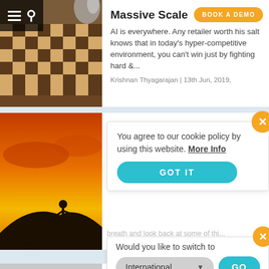[Figure (screenshot): Chess board with robot hand, navigation overlay with hamburger and search icons]
Massive Scale
[Figure (other): Orange button labeled BOOK A DEMO]
AI is everywhere. Any retailer worth his salt knows that in today's hyper-competitive environment, you can't win just by fighting hard &...
Krishnan Thyagarajan | 13th Jun, 2019,
[Figure (photo): Silhouettes of people climbing a hill at sunset with orange sky]
You agree to our cookie policy by using this website. More Info
[Figure (other): GOT IT button in teal/cyan]
breath and look back at some of thi...
Would you like to switch to
International
[Figure (other): GO button in teal/cyan]
...talent,
And More